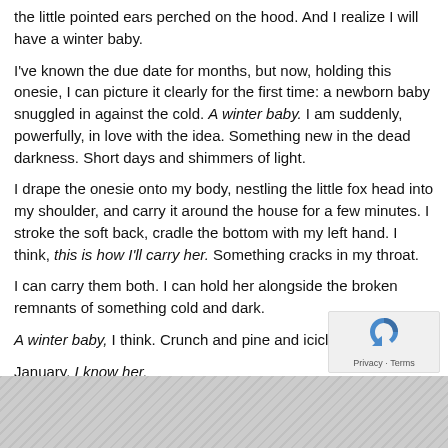the little pointed ears perched on the hood. And I realize I will have a winter baby.
I've known the due date for months, but now, holding this onesie, I can picture it clearly for the first time: a newborn baby snuggled in against the cold. A winter baby. I am suddenly, powerfully, in love with the idea. Something new in the dead darkness. Short days and shimmers of light.
I drape the onesie onto my body, nestling the little fox head into my shoulder, and carry it around the house for a few minutes. I stroke the soft back, cradle the bottom with my left hand. I think, this is how I'll carry her. Something cracks in my throat.
I can carry them both. I can hold her alongside the broken remnants of something cold and dark.
A winter baby, I think. Crunch and pine and icicle.
January. I know her.
[Figure (photo): Grayscale photograph at the bottom of the page, partially visible.]